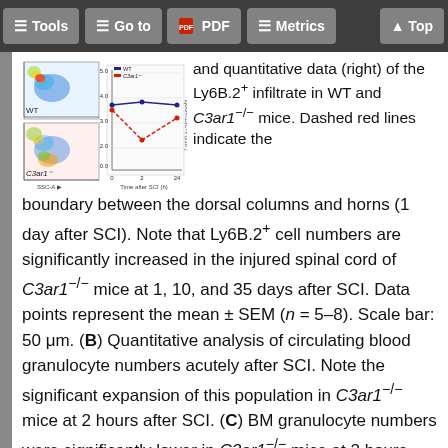Tools  Go to  PDF  Metrics  Top
[Figure (other): Flow cytometry dot plots (left) showing WT and C3ar1 mouse data, and a line graph (right) showing Ly6B.2+ infiltrate over time after SCI for WT and C3ar1 mice.]
and quantitative data (right) of the Ly6B.2+ infiltrate in WT and C3ar1−/− mice. Dashed red lines indicate the boundary between the dorsal columns and horns (1 day after SCI). Note that Ly6B.2+ cell numbers are significantly increased in the injured spinal cord of C3ar1−/− mice at 1, 10, and 35 days after SCI. Data points represent the mean ± SEM (n = 5–8). Scale bar: 50 μm. (B) Quantitative analysis of circulating blood granulocyte numbers acutely after SCI. Note the significant expansion of this population in C3ar1−/− mice at 2 hours after SCI. (C) BM granulocyte numbers were significantly lower in C3ar1−/− mice at 2 hours after SCI.